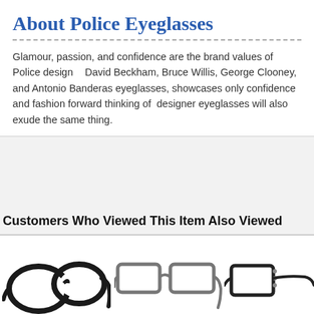About Police Eyeglasses
Glamour, passion, and confidence are the brand values of Police designer eyeglasses. David Beckham, Bruce Willis, George Clooney, and Antonio Banderas have all worn Police eyeglasses, showcases only confidence and fashion forward thinking of the brand. Police designer eyeglasses will also exude the same thing.
Customers Who Viewed This Item Also Viewed
[Figure (photo): Three pairs of eyeglasses displayed side by side: a dark round frame pair, a rectangular grey frame pair, and a partial view of a third pair with embellishments.]